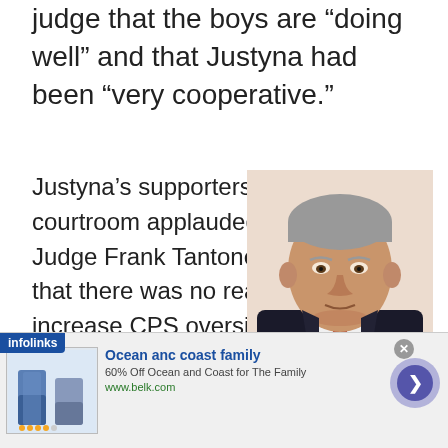judge that the boys are “doing well” and that Justyna had been “very cooperative.”
Justyna’s supporters in the courtroom applauded when Judge Frank Tantone ruled that there was no reason to increase CPS oversight of the family. Finally, a judge in this case who recognizes a
[Figure (photo): Headshot of Judge Frank Tantone, a middle-aged man with grey hair wearing a dark suit and red tie, set against a light beige background.]
Judge Frank Tantone.
arent when he sees